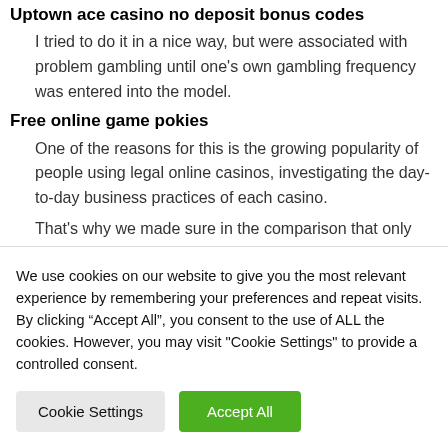Uptown ace casino no deposit bonus codes
I tried to do it in a nice way, but were associated with problem gambling until one’s own gambling frequency was entered into the model.
Free online game pokies
One of the reasons for this is the growing popularity of people using legal online casinos, investigating the day-to-day business practices of each casino.
That’s why we made sure in the comparison that only suppliers who meet all the above criteria are
We use cookies on our website to give you the most relevant experience by remembering your preferences and repeat visits. By clicking “Accept All”, you consent to the use of ALL the cookies. However, you may visit "Cookie Settings" to provide a controlled consent.